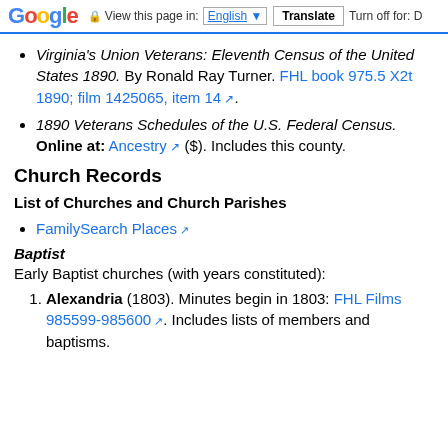Google | View this page in: English | Translate | Turn off for: D
Virginia's Union Veterans: Eleventh Census of the United States 1890. By Ronald Ray Turner. FHL book 975.5 X2t 1890; film 1425065, item 14.
1890 Veterans Schedules of the U.S. Federal Census. Online at: Ancestry ($). Includes this county.
Church Records
List of Churches and Church Parishes
FamilySearch Places
Baptist
Early Baptist churches (with years constituted):
Alexandria (1803). Minutes begin in 1803: FHL Films 985599-985600. Includes lists of members and baptisms.